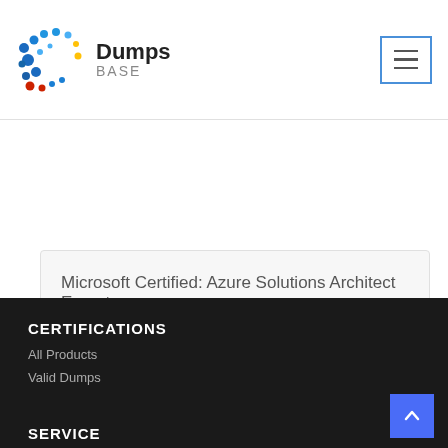Dumps BASE
Microsoft Certified: Azure Solutions Architect Expert
CERTIFICATIONS
All Products
Valid Dumps
SERVICE